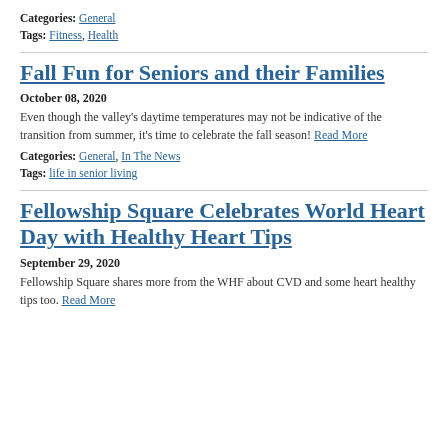Categories: General
Tags: Fitness, Health
Fall Fun for Seniors and their Families
October 08, 2020
Even though the valley's daytime temperatures may not be indicative of the transition from summer, it's time to celebrate the fall season! Read More
Categories: General, In The News
Tags: life in senior living
Fellowship Square Celebrates World Heart Day with Healthy Heart Tips
September 29, 2020
Fellowship Square shares more from the WHF about CVD and some heart healthy tips too. Read More